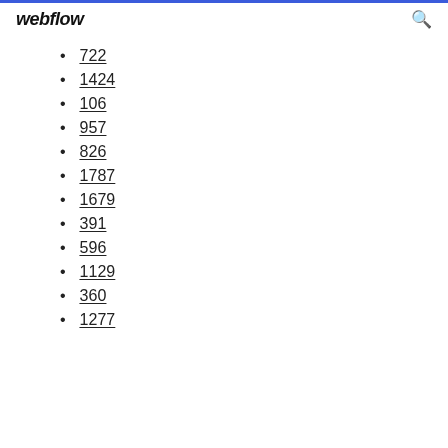webflow
722
1424
106
957
826
1787
1679
391
596
1129
360
1277